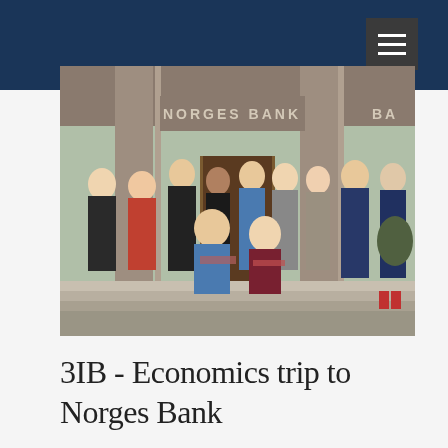[Figure (photo): Group of approximately 12 students and teachers posing in front of Norges Bank building in Oslo. The group is standing on stone steps outside the bank entrance, which has 'NORGES BANK' engraved above the door. People are wearing winter/autumn jackets. Two people are crouching in the front.]
3IB - Economics trip to Norges Bank